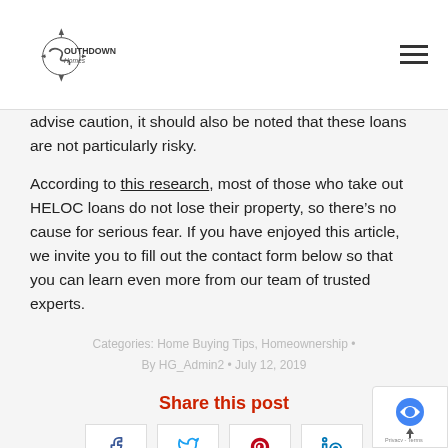Southdown Homes
advise caution, it should also be noted that these loans are not particularly risky.
According to this research, most of those who take out HELOC loans do not lose their property, so there’s no cause for serious fear. If you have enjoyed this article, we invite you to fill out the contact form below so that you can learn even more from our team of trusted experts.
Categories: Home Buying Tips, Homeownership • By HG_Admin2 • July 12, 2019
Share this post
[Figure (other): Social share buttons: Facebook, Twitter, Pinterest, LinkedIn]